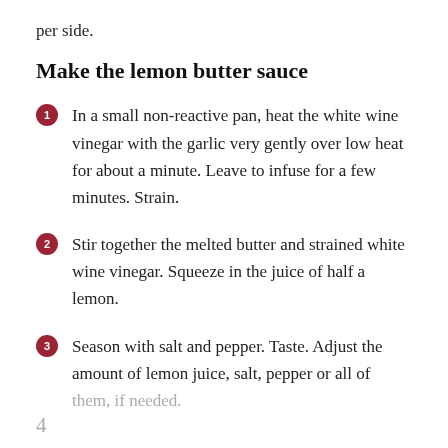per side.
Make the lemon butter sauce
In a small non-reactive pan, heat the white wine vinegar with the garlic very gently over low heat for about a minute. Leave to infuse for a few minutes. Strain.
Stir together the melted butter and strained white wine vinegar. Squeeze in the juice of half a lemon.
Season with salt and pepper. Taste. Adjust the amount of lemon juice, salt, pepper or all of them, if needed.